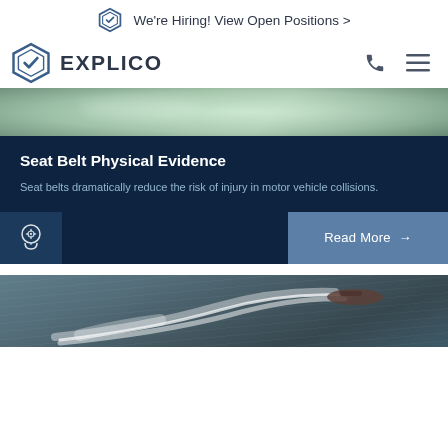We're Hiring! View Open Positions >
[Figure (logo): Explico hexagon logo]
[Figure (photo): Greenish background surface photo strip at top of article card]
Seat Belt Physical Evidence
Seat belts dramatically reduce the risk of injury in motor vehicle collisions.
[Figure (illustration): Human head with gear icon inside, white on dark blue background]
Read More →
[Figure (photo): Aerial view of a speedboat making a curved wake on open water]